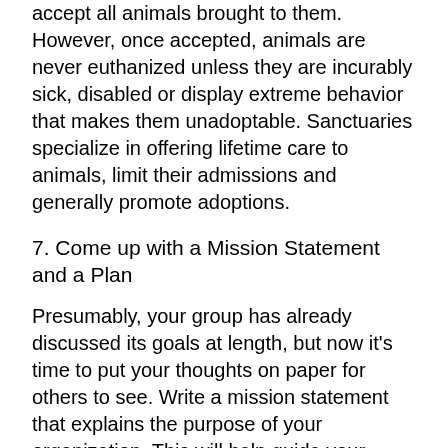accept all animals brought to them. However, once accepted, animals are never euthanized unless they are incurably sick, disabled or display extreme behavior that makes them unadoptable. Sanctuaries specialize in offering lifetime care to animals, limit their admissions and generally promote adoptions.
7. Come up with a Mission Statement and a Plan
Presumably, your group has already discussed its goals at length, but now it's time to put your thoughts on paper for others to see. Write a mission statement that explains the purpose of your organization. This will help guide your development and is required for incorporation as a non-profit. (Incidentally, the decision to incorporate or not, as well as what type of an organization you will be, are ones you will need guidance to reach.)
To incorporate, you'll need to include the organization's bylaws and articles of incorporation.